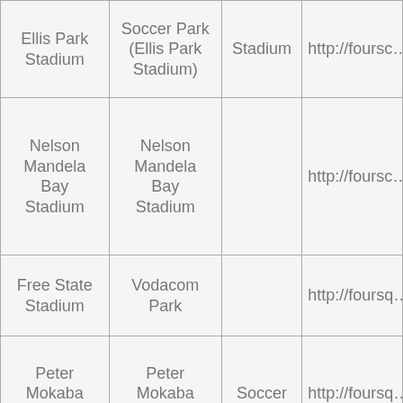| Name | Alias | Category | URL |
| --- | --- | --- | --- |
| Ellis Park Stadium | Soccer Park (Ellis Park Stadium) | Stadium | http://foursc… |
| Nelson Mandela Bay Stadium | Nelson Mandela Bay Stadium |  | http://foursc… |
| Free State Stadium | Vodacom Park |  | http://foursq… |
| Peter Mokaba Stadium | Peter Mokaba Stadium | Soccer | http://foursq… |
| Mbombela Stadium | Mbombela Stadium | Soccer | http://foursq… |
| Royal Bafokeng Stadium | Royal Bafokeng Stadium | Soccer | http://foursq… |
| Cape Town Stadium | Cape Town Stadium | Stadium | http://foursc… |